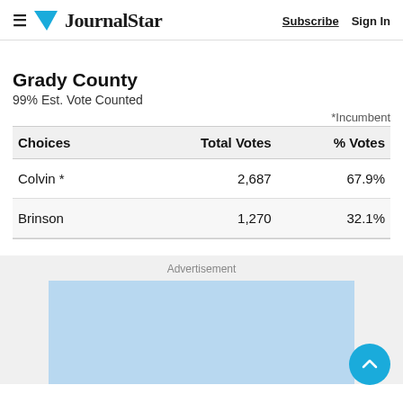JournalStar — Subscribe | Sign In
Grady County
99% Est. Vote Counted
*Incumbent
| Choices | Total Votes | % Votes |
| --- | --- | --- |
| Colvin * | 2,687 | 67.9% |
| Brinson | 1,270 | 32.1% |
Advertisement